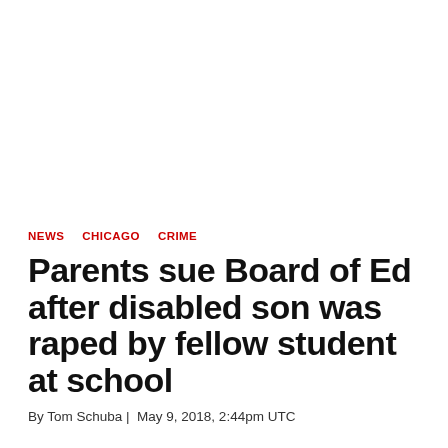NEWS   CHICAGO   CRIME
Parents sue Board of Ed after disabled son was raped by fellow student at school
By Tom Schuba | May 9, 2018, 2:44pm UTC